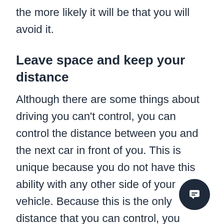the more likely it will be that you will avoid it.
Leave space and keep your distance
Although there are some things about driving you can't control, you can control the distance between you and the next car in front of you. This is unique because you do not have this ability with any other side of your vehicle. Because this is the only distance that you can control, you should be aware of how closely you are following the vehicle in front of you. Beware of driving in a pack.